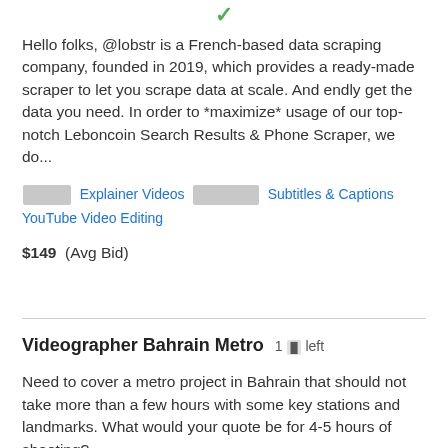[Figure (other): Green checkmark icon at top center of page]
Hello folks, @lobstr is a French-based data scraping company, founded in 2019, which provides a ready-made scraper to let you scrape data at scale. And endly get the data you need. In order to *maximize* usage of our top-notch Leboncoin Search Results & Phone Scraper, we do...
[redacted] Explainer Videos [redacted] Subtitles & Captions YouTube Video Editing
$149 (Avg Bid)
Videographer Bahrain Metro  1 [icon] left
Need to cover a metro project in Bahrain that should not take more than a few hours with some key stations and landmarks. What would your quote be for 4-5 hours of shooting?
Cinematography  Explainer Videos  Music Video  Social Video Marketing  Video Ads  [redacted]  Video Hardware  Video Post-editing  Video Processing  [redacted]  [redacted]  Video